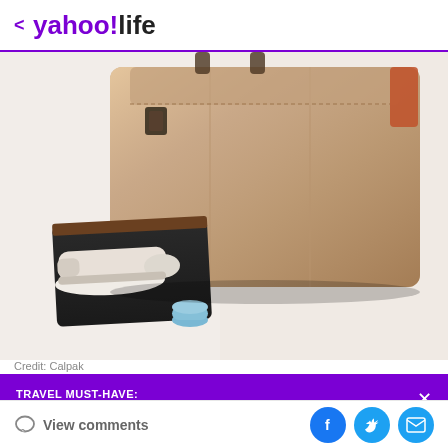< yahoo!life
[Figure (photo): A metallic rose-gold/bronze Calpak duffle/gym bag with a side shoe compartment open, showing a pair of beige sneakers laid flat on a black mat, with a small blue cylindrical item in front, on a white background.]
Credit: Calpak
TRAVEL MUST-HAVE:
This 'roomy' Lululemon tote is perfect for travel
View comments